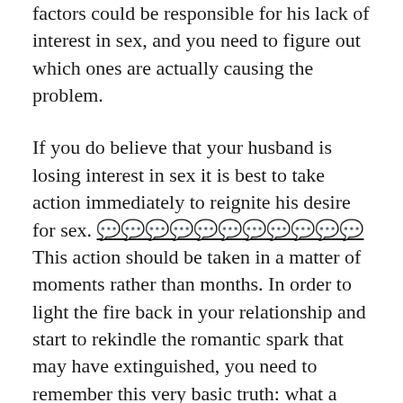factors could be responsible for his lack of interest in sex, and you need to figure out which ones are actually causing the problem.
If you do believe that your husband is losing interest in sex it is best to take action immediately to reignite his desire for sex. [????????????] This action should be taken in a matter of moments rather than months. In order to light the fire back in your relationship and start to rekindle the romantic spark that may have extinguished, you need to remember this very basic truth: what a man wants, is a woman's desire.
It may not be as romantic, but it is true that the more he sees and feels that he is wanted, the more he is going to want. This is especially true when it comes to